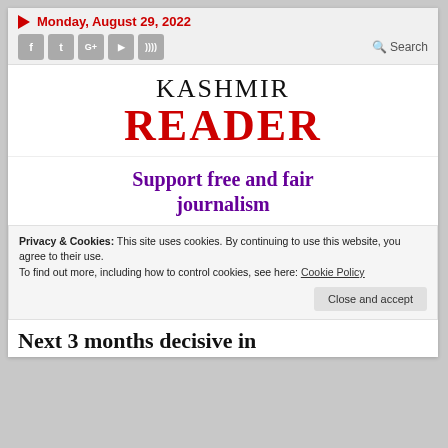Monday, August 29, 2022
KASHMIR READER
Support free and fair journalism
Privacy & Cookies: This site uses cookies. By continuing to use this website, you agree to their use.
To find out more, including how to control cookies, see here: Cookie Policy
Close and accept
Next 3 months decisive in